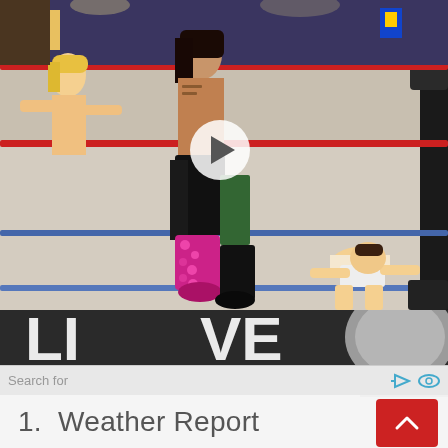[Figure (photo): Wrestling ring scene with multiple wrestlers, red and blue ropes visible, one wrestler in pink/magenta spiked boots, another on all fours on the mat. Play button overlay in center.]
[Figure (photo): Partial view of a second wrestling/event image showing large letters, partially cut off.]
Search for
1.  Weather Report